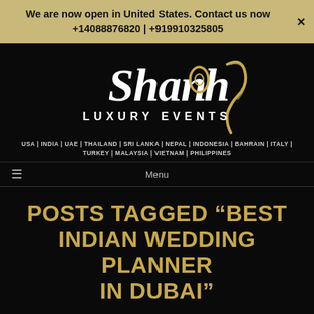We are now open in United States. Contact us now +14088876820 | +919910325805
[Figure (logo): Shanoh Luxury Events logo - cursive white text on black background with gold decorative element]
USA | INDIA | UAE | THAILAND | SRI LANKA | NEPAL | INDONESIA | BAHRAIN | ITALY | TURKEY | MALAYSIA | VIETNAM | PHILIPPINES
Menu
POSTS TAGGED “BEST INDIAN WEDDING PLANNER IN DUBAI”
GLAZING ROYAL